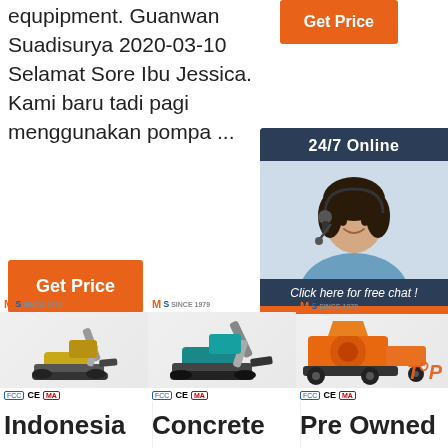equpipment. Guanwan Suadisurya 2020-03-10 Selamat Sore Ibu Jessica. Kami baru tadi pagi menggunakan pompa ...
[Figure (screenshot): Orange 'Get Price' button top right]
[Figure (screenshot): 24/7 Online chat widget with woman headset photo, 'Click here for free chat!' text and orange QUOTATION button]
[Figure (screenshot): Orange 'Get Price' button bottom left]
[Figure (photo): Mini excavator (yellow) with SINCE 1979 logo and certification marks (FCC CE MA)]
[Figure (photo): Mini excavator (teal/green) with SINCE 1979 logo and certification marks (FCC CE MA)]
[Figure (photo): Orange construction machine with SINCE 1979 logo and certification marks, TOP badge overlay]
Indonesia
Concrete
Pre Owned